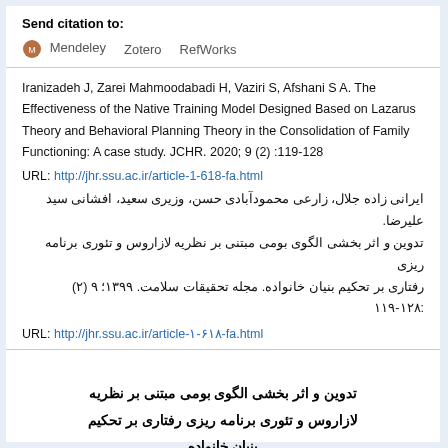Send citation to:
Mendeley   Zotero   RefWorks
Iranizadeh J, Zarei Mahmoodabadi H, Vaziri S, Afshani S A. The Effectiveness of the Native Training Model Designed Based on Lazarus Theory and Behavioral Planning Theory in the Consolidation of Family Functioning: A case study. JCHR. 2020; 9 (2) :119-128
URL: http://jhr.ssu.ac.ir/article-1-618-fa.html
ایرانی زاده جلال، زارعی محمودآبادی حسن، وزیری سعید، افشانی سید علیرضا. تدوین و اثر بخشی الگوی بومی مبتنی بر نظریه لازاروس و تئوری برنامه ریزی رفتاری بر تحکیم بنیان خانواده. مجله تحقیقات سلامت. ۱۳۹۹؛ ۹ (۲) :۱۲۸-۱۱۹
URL: http://jhr.ssu.ac.ir/article-۱-۶۱۸-fa.html
تدوین و اثر بخشی الگوی بومی مبتنی بر نظریه لازاروس و تئوری برنامه ریزی رفتاری بر تحکیم بنیان خانواده